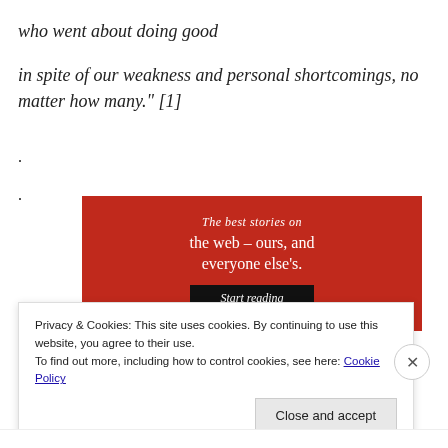who went about doing good in spite of our weakness and personal shortcomings, no matter how many." [1]
.
.
[Figure (screenshot): Red advertisement banner with white serif text: 'The best stories on the web – ours, and everyone else's.' with a black 'Start reading' button]
Privacy & Cookies: This site uses cookies. By continuing to use this website, you agree to their use.
To find out more, including how to control cookies, see here: Cookie Policy
Close and accept